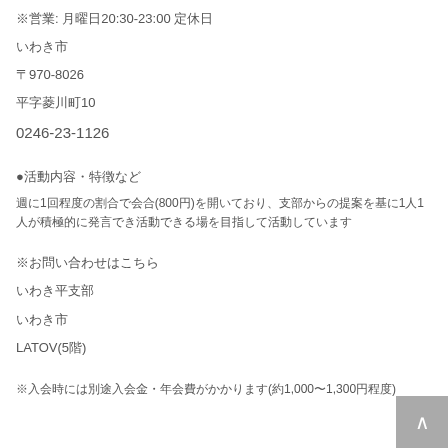※営業: 月曜日20:30-23:00 定休日
いわき市
〒970-8026
平字菱川町10
0246-23-1126
●活動内容・特徴など
週に1回程度の割合で会合(800円)を開いており、支部からの提案を基に1人1人が積極的に発言でき活動できる場を目指して活動しています
※お問い合わせはこちら
いわき平支部
いわき市
LATOV(5階)
※入会時には別途入会金・年会費がかかります(約1,000〜1,300円程度)